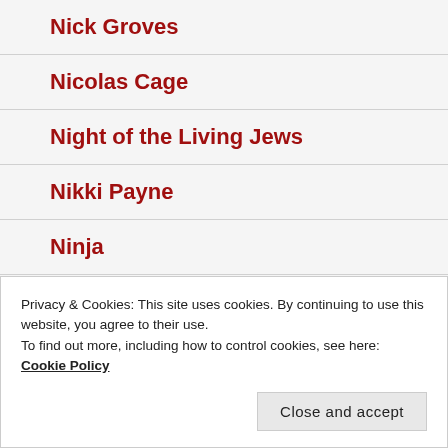Nick Groves
Nicolas Cage
Night of the Living Jews
Nikki Payne
Ninja
Ninja Assassin
Privacy & Cookies: This site uses cookies. By continuing to use this website, you agree to their use.
To find out more, including how to control cookies, see here: Cookie Policy
Close and accept
NWO